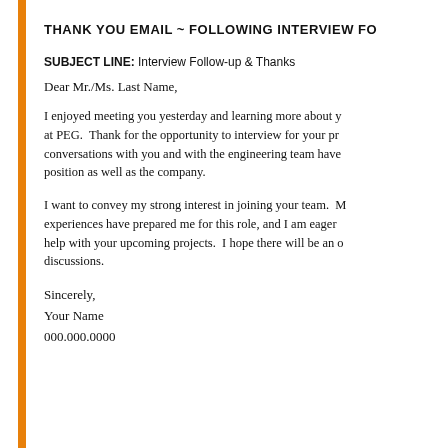THANK YOU EMAIL ~ FOLLOWING INTERVIEW FO
SUBJECT LINE: Interview Follow-up & Thanks
Dear Mr./Ms. Last Name,
I enjoyed meeting you yesterday and learning more about y at PEG.  Thank for the opportunity to interview for your pr conversations with you and with the engineering team have position as well as the company.
I want to convey my strong interest in joining your team.  M experiences have prepared me for this role, and I am eager help with your upcoming projects.  I hope there will be an o discussions.
Sincerely,
Your Name
000.000.0000